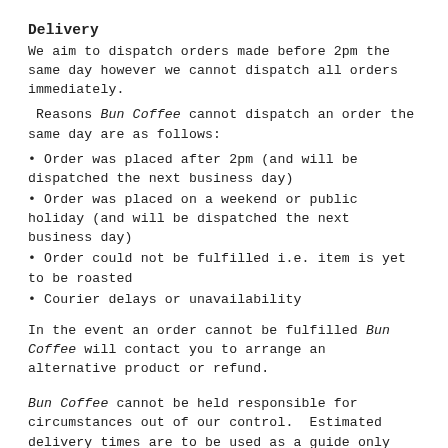Delivery
We aim to dispatch orders made before 2pm the same day however we cannot dispatch all orders immediately.
Reasons Bun Coffee cannot dispatch an order the same day are as follows:
Order was placed after 2pm (and will be dispatched the next business day)
Order was placed on a weekend or public holiday (and will be dispatched the next business day)
Order could not be fulfilled i.e. item is yet to be roasted
Courier delays or unavailability
In the event an order cannot be fulfilled Bun Coffee will contact you to arrange an alternative product or refund.
Bun Coffee cannot be held responsible for circumstances out of our control. Estimated delivery times are to be used as a guide only and commence from the date of dispatch.